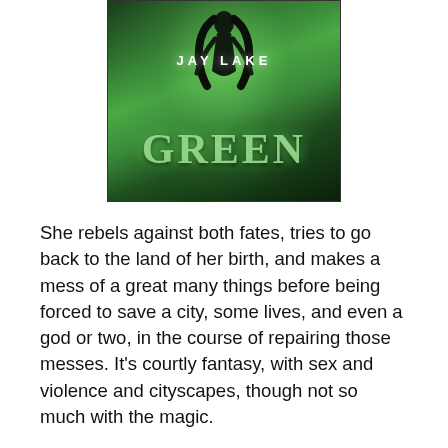[Figure (illustration): Book cover of 'Green' by Jay Lake. Dark green background with glowing radial light effect. A female figure with long dark hair is visible at the top center. The author name 'JAY LAKE' appears in white bold letters, and the title 'GREEN' appears in large stylized letters below.]
She rebels against both fates, tries to go back to the land of her birth, and makes a mess of a great many things before being forced to save a city, some lives, and even a god or two, in the course of repairing those messes. It's courtly fantasy, with sex and violence and cityscapes, though not so much with the magic.
I wrote the book for and about my daughter, very much drawing from her character to build Green, the protagonist. Getting inside the head of a young girl of color with Green's peculiar history was quite a stretch for me as a